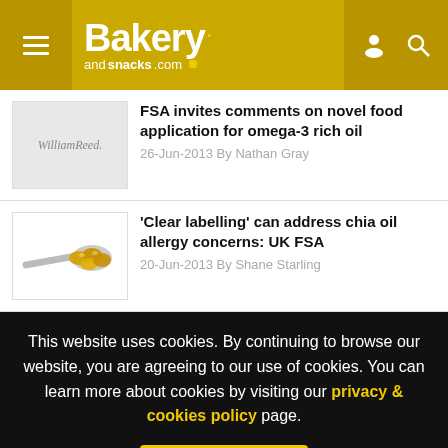Bakery andsnacks.com
FSA invites comments on novel food application for omega-3 rich oil
26-Jun-2013 By Nathan Gray
'Clear labelling' can address chia oil allergy concerns: UK FSA
20-Jun-2013 By Shane Starling
This website uses cookies. By continuing to browse our website, you are agreeing to our use of cookies. You can learn more about cookies by visiting our privacy & cookies policy page.
I Agree